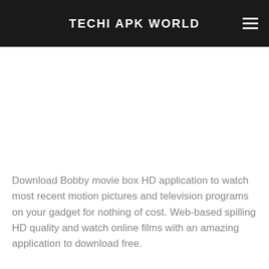TECHI APK WORLD
Download Bobby movie box HD application to watch most recent motion pictures and television programs on your gadget for nothing of cost. Web-based spilling HD quality and watch online films with an amazing application to download free.